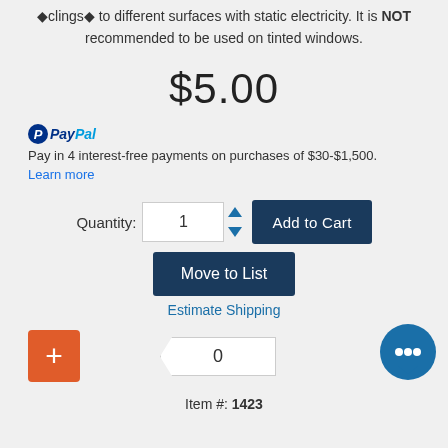clings to different surfaces with static electricity. It is NOT recommended to be used on tinted windows.
$5.00
PayPal Pay in 4 interest-free payments on purchases of $30-$1,500. Learn more
Quantity: 1  Add to Cart
Move to List
Estimate Shipping
0
Item #: 1423